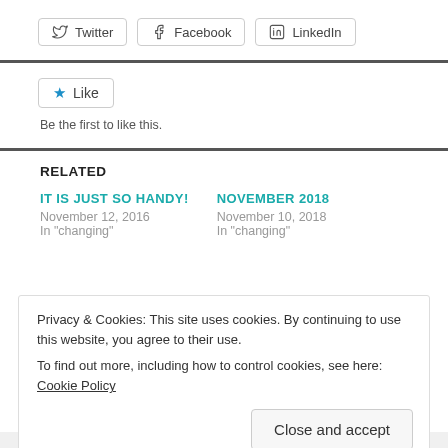[Figure (other): Social share buttons: Twitter, Facebook, LinkedIn]
[Figure (other): Like button with star icon, and 'Be the first to like this.' text]
RELATED
IT IS JUST SO HANDY!
November 12, 2016
In "changing"
NOVEMBER 2018
November 10, 2018
In "changing"
Privacy & Cookies: This site uses cookies. By continuing to use this website, you agree to their use.
To find out more, including how to control cookies, see here: Cookie Policy
Close and accept